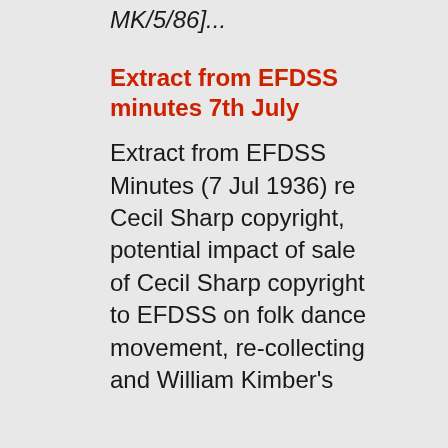MK/5/86]...
Extract from EFDSS minutes 7th July
Extract from EFDSS Minutes (7 Jul 1936) re Cecil Sharp copyright, potential impact of sale of Cecil Sharp copyright to EFDSS on folk dance movement, re-collecting and William Kimber's